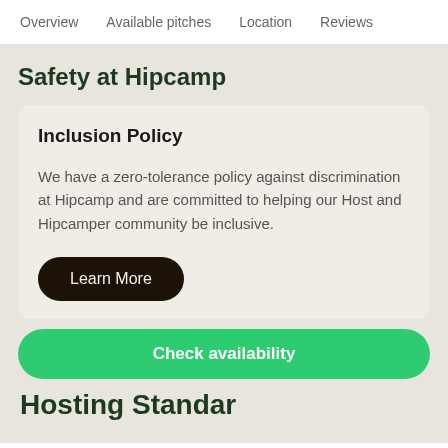Overview   Available pitches   Location   Reviews
Safety at Hipcamp
Inclusion Policy
We have a zero-tolerance policy against discrimination at Hipcamp and are committed to helping our Host and Hipcamper community be inclusive.
Learn More
Check availability
Hosting Standar…